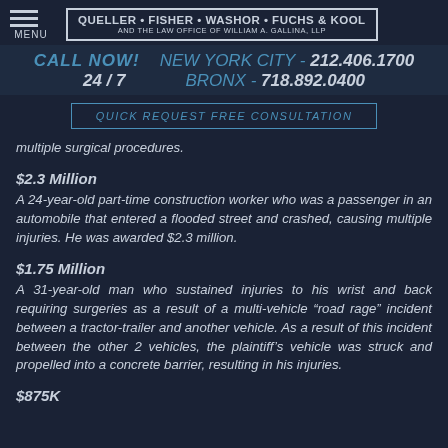QUELLER • FISHER • WASHOR • FUCHS & KOOL AND THE LAW OFFICE OF WILLIAM A. GALLINA, LLP
CALL NOW! NEW YORK CITY - 212.406.1700 24 / 7 BRONX - 718.892.0400
QUICK REQUEST FREE CONSULTATION
multiple surgical procedures.
$2.3 Million
A 24-year-old part-time construction worker who was a passenger in an automobile that entered a flooded street and crashed, causing multiple injuries. He was awarded $2.3 million.
$1.75 Million
A 31-year-old man who sustained injuries to his wrist and back requiring surgeries as a result of a multi-vehicle "road rage" incident between a tractor-trailer and another vehicle. As a result of this incident between the other 2 vehicles, the plaintiff's vehicle was struck and propelled into a concrete barrier, resulting in his injuries.
$875K